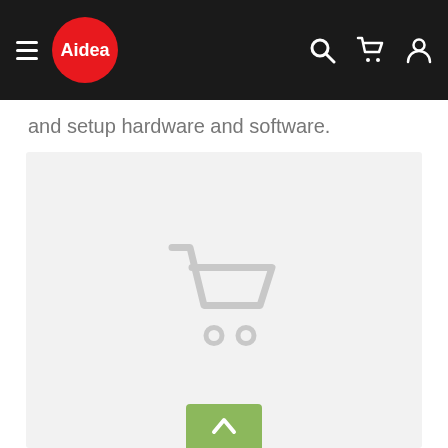Aidea navigation header with hamburger menu, logo, search, cart, and user icons
and setup hardware and software.
[Figure (screenshot): Light gray empty product card area with a faded shopping cart icon in the center, and a green scroll-to-top button at the bottom]
[Figure (other): Green scroll-to-top button with upward chevron arrow]